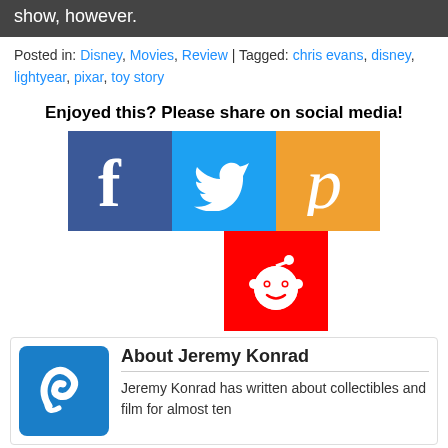show, however.
Posted in: Disney, Movies, Review | Tagged: chris evans, disney, lightyear, pixar, toy story
Enjoyed this? Please share on social media!
[Figure (logo): Facebook logo icon (white f on blue background)]
[Figure (logo): Twitter logo icon (white bird on blue background)]
[Figure (logo): Pinterest logo icon (white P on orange background)]
[Figure (logo): Reddit logo icon (white alien on red background)]
About Jeremy Konrad
[Figure (logo): Jeremy Konrad avatar — blue rounded square with white circular logo]
Jeremy Konrad has written about collectibles and film for almost ten